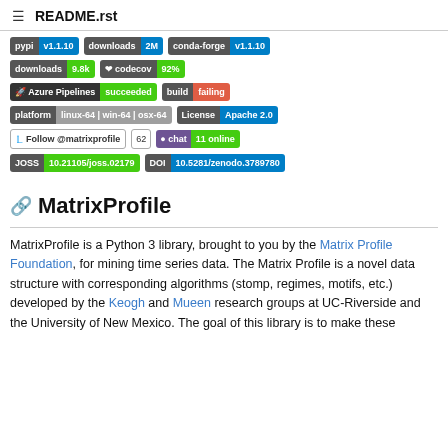README.rst
[Figure (screenshot): Badges row 1: pypi v1.1.10, downloads 2M, conda-forge v1.1.10]
[Figure (screenshot): Badges row 2: downloads 9.8k, codecov 92%]
[Figure (screenshot): Badges row 3: Azure Pipelines succeeded, build failing]
[Figure (screenshot): Badges row 4: platform linux-64 | win-64 | osx-64, License Apache 2.0]
[Figure (screenshot): Badges row 5: Follow @matrixprofile 62, chat 11 online]
[Figure (screenshot): Badges row 6: JOSS 10.21105/joss.02179, DOI 10.5281/zenodo.3789780]
MatrixProfile
MatrixProfile is a Python 3 library, brought to you by the Matrix Profile Foundation, for mining time series data. The Matrix Profile is a novel data structure with corresponding algorithms (stomp, regimes, motifs, etc.) developed by the Keogh and Mueen research groups at UC-Riverside and the University of New Mexico. The goal of this library is to make these